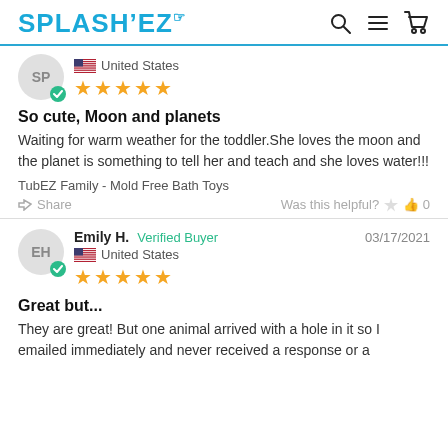SPLASH'EZ
SP · United States · ★★★★★
So cute, Moon and planets
Waiting for warm weather for the toddler.She loves the moon and the planet is something to tell her and teach and she loves water!!!
TubEZ Family - Mold Free Bath Toys
Share · Was this helpful? 👍 0
Emily H. · Verified Buyer · 03/17/2021 · United States · ★★★★★
Great but...
They are great! But one animal arrived with a hole in it so I emailed immediately and never received a response or a